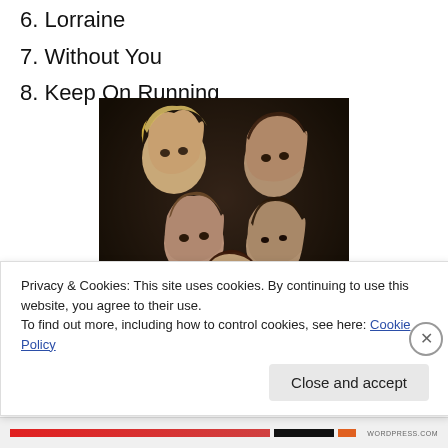6. Lorraine
7. Without You
8. Keep On Running
[Figure (photo): Group photo of four young men from the 1980s, posed together against a dark background, with 1980s-style hair and clothing]
Privacy & Cookies: This site uses cookies. By continuing to use this website, you agree to their use.
To find out more, including how to control cookies, see here: Cookie Policy
Close and accept